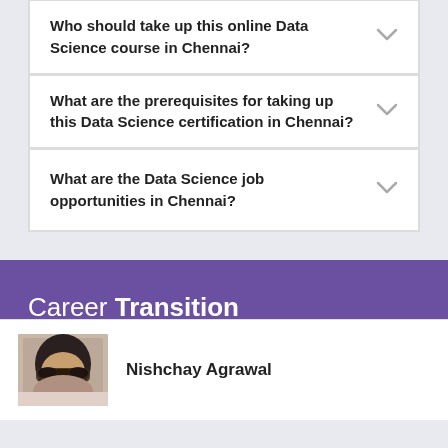Who should take up this online Data Science course in Chennai?
What are the prerequisites for taking up this Data Science certification in Chennai?
What are the Data Science job opportunities in Chennai?
Career Transition
Nishchay Agrawal